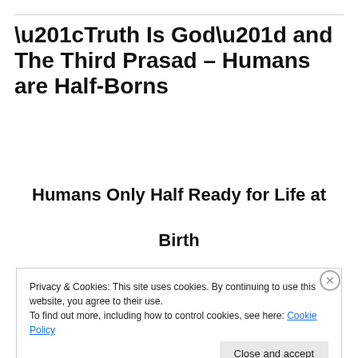“Truth Is God” and The Third Prasad – Humans are Half-Borns
Humans Only Half Ready for Life at Birth
Privacy & Cookies: This site uses cookies. By continuing to use this website, you agree to their use.
To find out more, including how to control cookies, see here: Cookie Policy
Close and accept